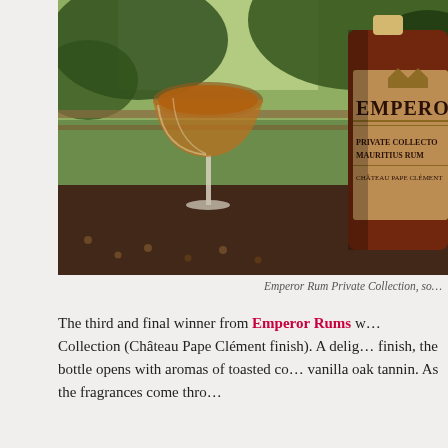[Figure (photo): A coupe glass of amber-colored rum cocktail placed next to a bottle of Emperor Rum Private Collection (Château Pape Clément finish), set on a leather surface outdoors with tropical foliage in the background.]
Emperor Rum Private Collection, so…
The third and final winner from Emperor Rums was the Private Collection (Château Pape Clément finish). A delightful finish, the bottle opens with aromas of toasted co… vanilla oak tannin. As the fragrances come thro…